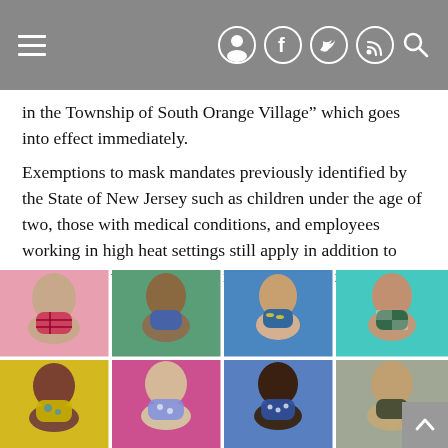[Navigation bar with hamburger menu and social icons: user, facebook, twitter, RSS, search]
in the Township of South Orange Village” which goes into effect immediately.
Exemptions to mask mandates previously identified by the State of New Jersey such as children under the age of two, those with medical conditions, and employees working in high heat settings still apply in addition to actively eating and drinking in restaurants, etc.
[Figure (photo): Photo collage of 8 people (2 rows, 4 columns) each wearing different face masks on colorful backgrounds: top row shows a teen with pink plaid mask on pink background, a man with blue mask on green background, a girl with banana-print mask on blue background, a woman with checkered mask on teal background; bottom row shows a woman with floral mask on yellow background, a woman with floral mask on pink background, a woman with polka dot mask on blue background, and a man with dark mask on gray background.]